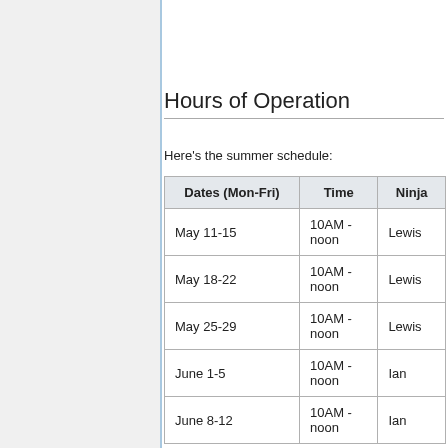Hours of Operation
Here's the summer schedule:
| Dates (Mon-Fri) | Time | Ninja |
| --- | --- | --- |
| May 11-15 | 10AM - noon | Lewis |
| May 18-22 | 10AM - noon | Lewis |
| May 25-29 | 10AM - noon | Lewis |
| June 1-5 | 10AM - noon | Ian |
| June 8-12 | 10AM - noon | Ian |